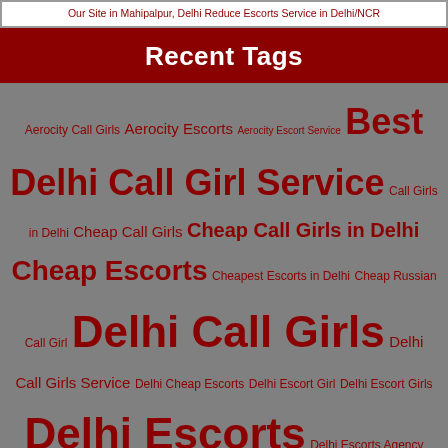Our Site in Mahipalpur, Delhi Reduce Escorts Service in Delhi/NCR
Recent Tags
Aerocity Call Girls Aerocity Escorts Aerocity Escort Service Best Delhi Call Girl Service Call Girls in Delhi Cheap Call Girls Cheap Call Girls in Delhi Cheap Escorts Cheapest Escorts in Delhi Cheap Russian Call Girl Delhi Call Girls Delhi Call Girls Service Delhi Cheap Escorts Delhi Escort Girl Delhi Escort Girls Delhi Escorts Delhi Escorts Agency Delhi Escort Service Delhi Female Escorts Delhi Independent Escorts Delhi Local Escorts Delhi NCR Escorts Dwarka Escorts Escort Service in Delhi Female Escorts Female Escorts in Delhi Gurgaon Call Girls Gurgaon Escorts Hotel Escorts Hotel Service Independent Escorts Independent Escorts in Delhi MAHIPALPUR Mahipalpur Call Girls Mahipalpur Escorts Mahipalpur Escort Service Mumbai Call Girls Mumbai Escorts NCR Escorts Noida Call Girls Noida Escorts Noida Escort Service Saket Call Girls Saket Escorts Saket Escort Service